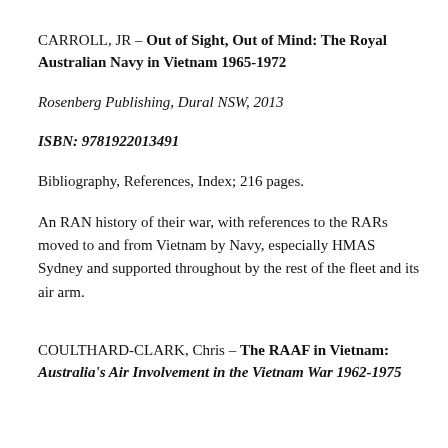CARROLL, JR – Out of Sight, Out of Mind: The Royal Australian Navy in Vietnam 1965-1972
Rosenberg Publishing, Dural NSW, 2013
ISBN: 9781922013491
Bibliography, References, Index; 216 pages.
An RAN history of their war, with references to the RARs moved to and from Vietnam by Navy, especially HMAS Sydney and supported throughout by the rest of the fleet and its air arm.
COULTHARD-CLARK, Chris – The RAAF in Vietnam: Australia's Air Involvement in the Vietnam War 1962-1975